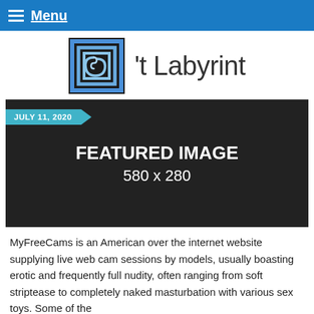Menu
[Figure (logo): Labyrint logo: square spiral icon in blue/black with text 't Labyrint']
[Figure (other): Featured image placeholder: dark background with white bold text 'FEATURED IMAGE 580 x 280' and a teal date tag reading 'JULY 11, 2020']
MyFreeCams is an American over the internet website supplying live web cam sessions by models, usually boasting erotic and frequently full nudity, often ranging from soft striptease to completely naked masturbation with various sex toys. Some of the